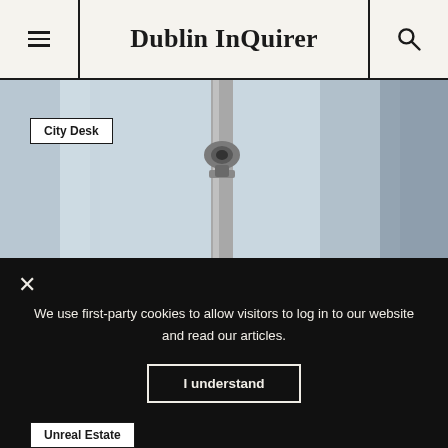Dublin InQuirer
[Figure (photo): A CCTV security camera mounted on a tall metal pole, photographed against a pale blue-grey blurred background. City Desk badge overlaid top-left.]
City Desk
We use first-party cookies to allow visitors to log in to our website and read our articles.
I understand
Unreal Estate